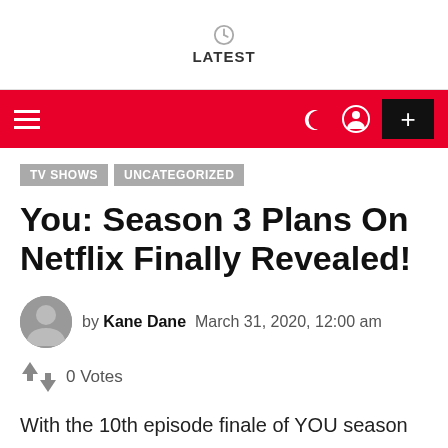LATEST
TV SHOWS   UNCATEGORIZED
You: Season 3 Plans On Netflix Finally Revealed!
by Kane Dane   March 31, 2020, 12:00 am
0 Votes
With the 10th episode finale of YOU season 2, the show practically vowed to return to another run, as